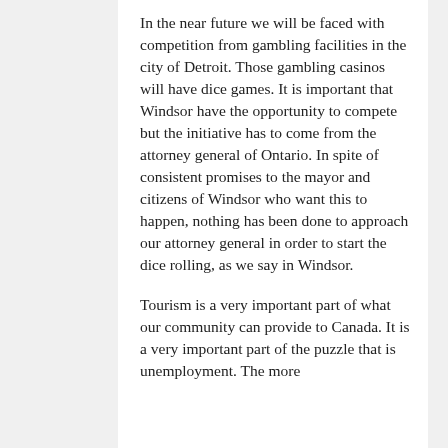In the near future we will be faced with competition from gambling facilities in the city of Detroit. Those gambling casinos will have dice games. It is important that Windsor have the opportunity to compete but the initiative has to come from the attorney general of Ontario. In spite of consistent promises to the mayor and citizens of Windsor who want this to happen, nothing has been done to approach our attorney general in order to start the dice rolling, as we say in Windsor.
Tourism is a very important part of what our community can provide to Canada. It is a very important part of the puzzle that is unemployment. The more